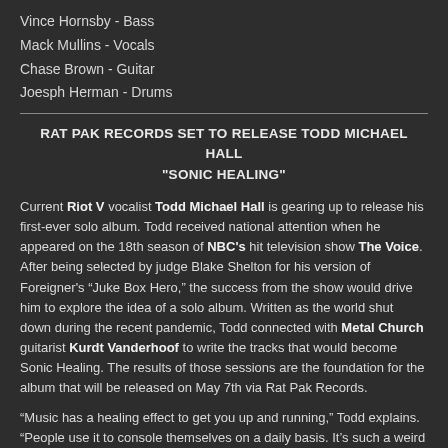Vince Hornsby - Bass
Mack Mullins - Vocals
Chase Brown - Guitar
Joesph Herman - Drums
RAT PAK RECORDS SET TO RELEASE TODD MICHAEL HALL "SONIC HEALING"
Current Riot V vocalist Todd Michael Hall is gearing up to release his first-ever solo album. Todd received national attention when he appeared on the 18th season of NBC's hit television show The Voice. After being selected by judge Blake Shelton for his version of Foreigner's “Juke Box Hero,” the success from the show would drive him to explore the idea of a solo album. Written as the world shut down during the recent pandemic, Todd connected with Metal Church guitarist Kurdt Vanderhoof to write the tracks that would become Sonic Healing. The results of those sessions are the foundation for the album that will be released on May 7th via Rat Pak Records.
“Music has a healing effect to get you up and running,” Todd explains. “People use it to console themselves on a daily basis. It’s such a weird time right now. So, Sonic Healing is meant to be good positive rock. We